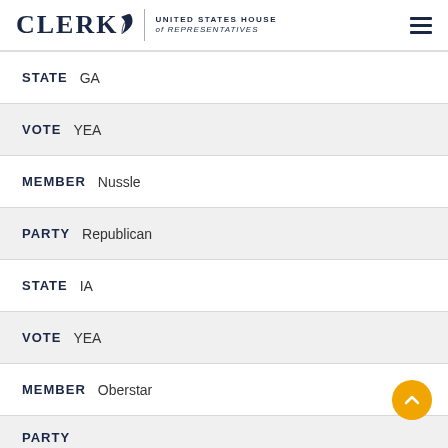CLERK United States House of Representatives
STATE  GA
VOTE  YEA
MEMBER  Nussle
PARTY  Republican
STATE  IA
VOTE  YEA
MEMBER  Oberstar
PARTY  (partially visible)